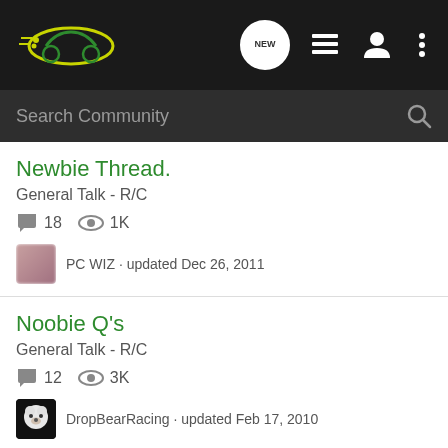[Figure (screenshot): App navigation bar with RC car logo (green/yellow) and icons: NEW speech bubble, list icon, user icon, menu dots]
[Figure (screenshot): Search Community search bar with magnifying glass icon]
Newbie Thread.
General Talk - R/C
18  1K
PC WIZ · updated Dec 26, 2011
Noobie Q's
General Talk - R/C
12  3K
DropBearRacing · updated Feb 17, 2010
First RC
General Talk - R/C